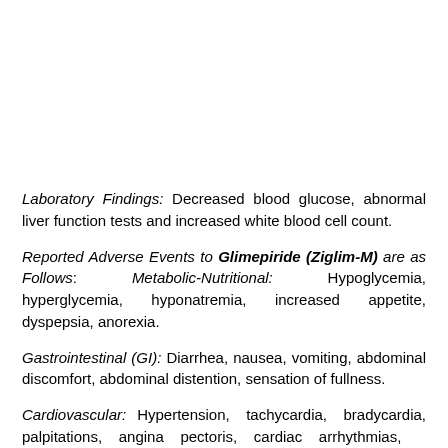Laboratory Findings: Decreased blood glucose, abnormal liver function tests and increased white blood cell count.
Reported Adverse Events to Glimepiride (Ziglim-M) are as Follows: Metabolic-Nutritional: Hypoglycemia, hyperglycemia, hyponatremia, increased appetite, dyspepsia, anorexia.
Gastrointestinal (GI): Diarrhea, nausea, vomiting, abdominal discomfort, abdominal distention, sensation of fullness.
Cardiovascular: Hypertension, tachycardia, bradycardia, palpitations, angina pectoris, cardiac arrhythmias,